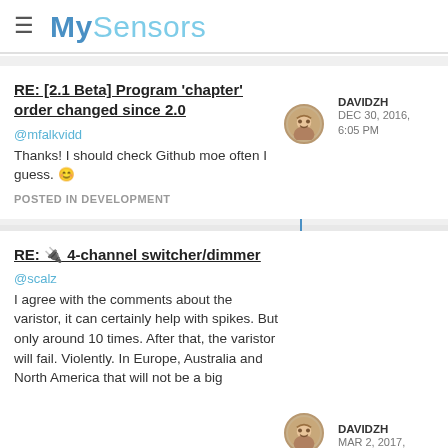MySensors
RE: [2.1 Beta] Program 'chapter' order changed since 2.0
@mfalkvidd
Thanks! I should check Github moe often I guess. 😊
POSTED IN DEVELOPMENT
DAVIDZH
DEC 30, 2016, 6:05 PM
RE: 🔌 4-channel switcher/dimmer
@scalz
I agree with the comments about the varistor, it can certainly help with spikes. But only around 10 times. After that, the varistor will fail. Violently. In Europe, Australia and North America that will not be a big
DAVIDZH
MAR 2, 2017,